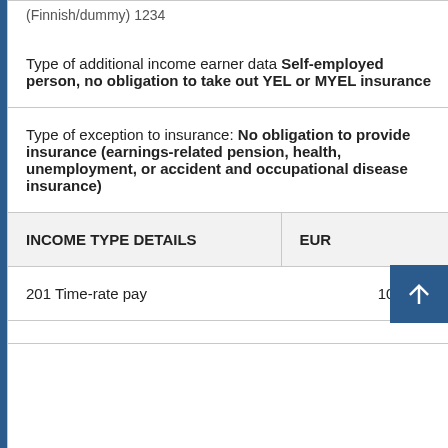(Finnish/dummy) 1234
Type of additional income earner data Self-employed person, no obligation to take out YEL or MYEL insurance
Type of exception to insurance: No obligation to provide insurance (earnings-related pension, health, unemployment, or accident and occupational disease insurance)
| INCOME TYPE DETAILS | EUR |
| --- | --- |
| 201 Time-rate pay | 1000.00 |